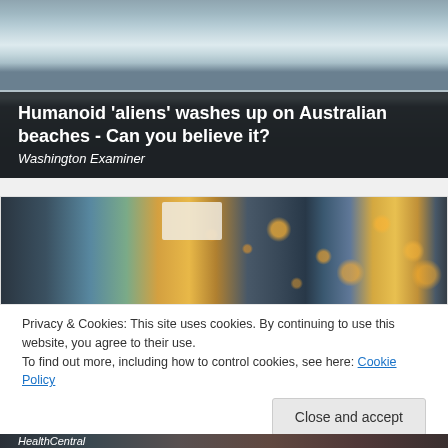[Figure (photo): Beach waves with dark overlay at bottom]
Humanoid 'aliens' washes up on Australian beaches - Can you believe it?
Washington Examiner
[Figure (photo): Blurred supermarket aisle with bokeh lights]
Privacy & Cookies: This site uses cookies. By continuing to use this website, you agree to their use.
To find out more, including how to control cookies, see here: Cookie Policy
Close and accept
HealthCentral